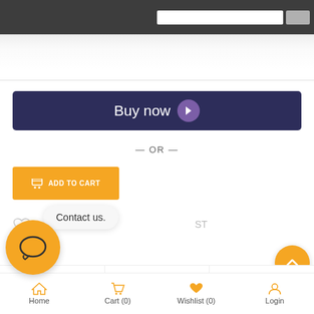[Figure (screenshot): Top dark navigation bar with search input and search button]
[Figure (screenshot): Buy now button with dark navy background and purple chevron icon]
— OR —
[Figure (screenshot): Yellow Add to Cart button with cart icon]
[Figure (screenshot): Heart wishlist icon]
Contact us.
[Figure (screenshot): Yellow circular scroll-to-top button with up chevron]
[Figure (screenshot): Social sharing bar with partial icons]
[Figure (screenshot): Yellow circular chat/contact FAB button with speech bubble icon]
[Figure (screenshot): Bottom navigation bar with Home, Cart (0), Wishlist (0), Login icons and labels]